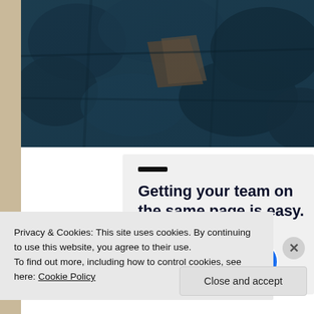[Figure (photo): Dark teal/blue aerial photograph of trees or forest, viewed from above, partially cropped]
Getting your team on the same page is easy. And free.
[Figure (photo): Row of circular avatar portrait photos: woman with blonde hair, person with curly hair, person with dark hair, and a blue circle with a plus sign]
Privacy & Cookies: This site uses cookies. By continuing to use this website, you agree to their use.
To find out more, including how to control cookies, see here: Cookie Policy
Close and accept